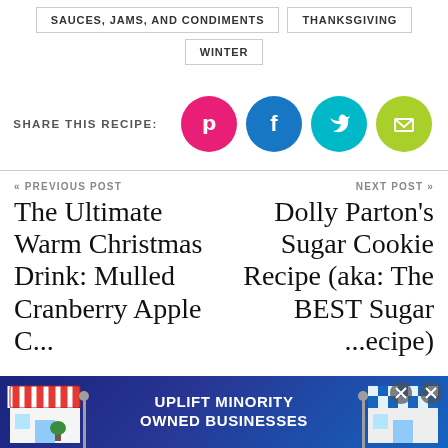SAUCES, JAMS, AND CONDIMENTS
THANKSGIVING
WINTER
SHARE THIS RECIPE:
[Figure (infographic): Four social media share buttons: Pinterest (pink circle), Facebook (blue circle), Twitter (teal circle), Email (green circle)]
« PREVIOUS POST
NEXT POST »
The Ultimate Warm Christmas Drink: Mulled Cranberry Apple C...
Dolly Parton's Sugar Cookie Recipe (aka: The BEST Sugar ...ecipe)
[Figure (infographic): Advertisement banner: UPLIFT MINORITY OWNED BUSINESSES with store illustrations on each side]